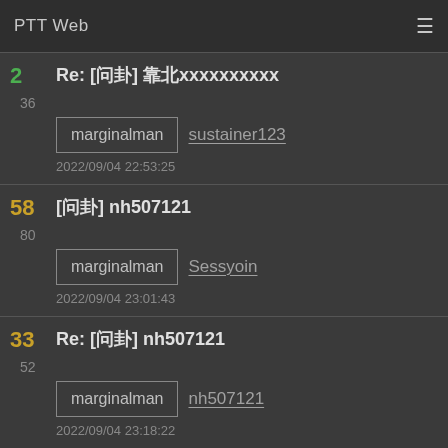PTT Web
2
36
Re: [問卦] 靠北xxxxxxxxxx
marginalman  sustainer123
2022/09/04 22:53:25
58
80
[問卦] nh507121
marginalman  Sessyoin
2022/09/04 23:01:43
33
52
Re: [問卦] nh507121
marginalman  nh507121
2022/09/04 23:18:22